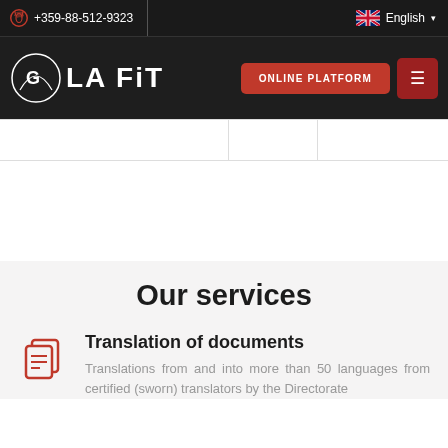+359-88-512-9323  English
[Figure (logo): LA FIT logo with circular icon, white text on dark background]
Our services
Translation of documents
Translations from and into more than 50 languages from certified (sworn) translators by the Directorate